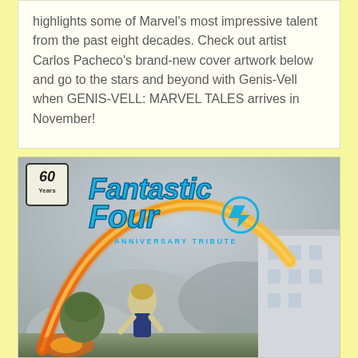highlights some of Marvel's most impressive talent from the past eight decades. Check out artist Carlos Pacheco's brand-new cover artwork below and go to the stars and beyond with Genis-Vell when GENIS-VELL: MARVEL TALES arrives in November!
[Figure (illustration): Cover art for Fantastic Four Anniversary Tribute comic book, featuring the Fantastic Four logo with '60 Years' badge, and action scene with Human Torch flame arc, Invisible Woman, and other characters in front of a building]